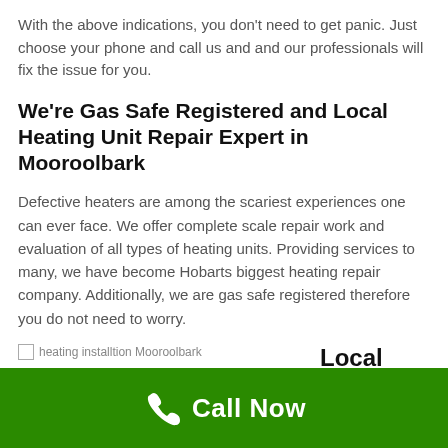With the above indications, you don't need to get panic. Just choose your phone and call us and and our professionals will fix the issue for you.
We're Gas Safe Registered and Local Heating Unit Repair Expert in Mooroolbark
Defective heaters are among the scariest experiences one can ever face. We offer complete scale repair work and evaluation of all types of heating units. Providing services to many, we have become Hobarts biggest heating repair company. Additionally, we are gas safe registered therefore you do not need to worry.
[Figure (photo): Image placeholder with alt text: heating installtion Mooroolbark]
Local Heating Unit Repair
Call Now